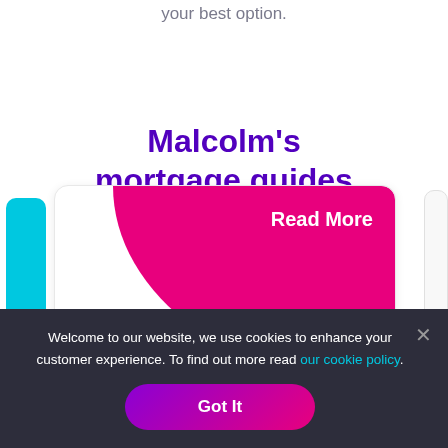your best option.
Malcolm's
mortgage guides
[Figure (screenshot): A card carousel showing mortgage guide cards. The visible main card has a large pink/magenta blob in the top-right corner with 'Read More' text in white. A cyan tab is visible on the far left. A partial white card is visible on the right.]
Welcome to our website, we use cookies to enhance your customer experience. To find out more read our cookie policy.
Got It